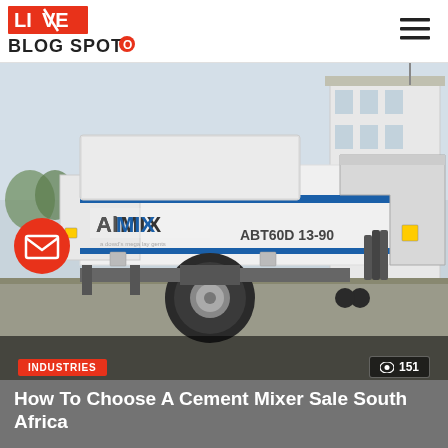LIVE BLOG SPOT
[Figure (photo): AIMIX ABT60D 13-90 cement mixer / concrete pump truck parked outdoors near a building, white and blue industrial equipment on wheels]
INDUSTRIES
151
How To Choose A Cement Mixer Sale South Africa